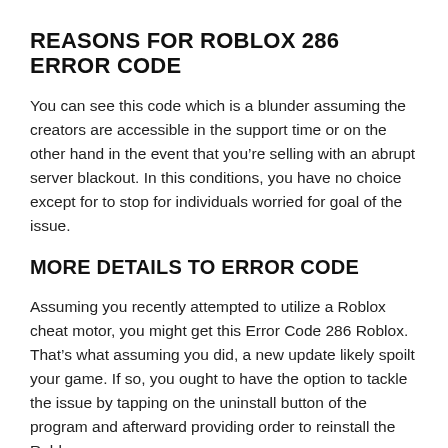REASONS FOR ROBLOX 286 ERROR CODE
You can see this code which is a blunder assuming the creators are accessible in the support time or on the other hand in the event that you’re selling with an abrupt server blackout. In this conditions, you have no choice except for to stop for individuals worried for goal of the issue.
MORE DETAILS TO ERROR CODE
Assuming you recently attempted to utilize a Roblox cheat motor, you might get this Error Code 286 Roblox. That’s what assuming you did, a new update likely spoilt your game. If so, you ought to have the option to tackle the issue by tapping on the uninstall button of the program and afterward providing order to reinstall the Roblox.
Assuming you’re confronting issue with this on Xbox One, it